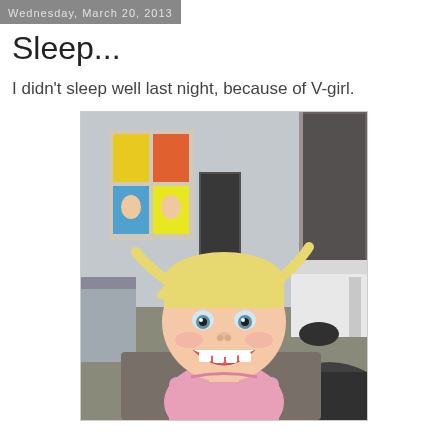Wednesday, March 20, 2013
Sleep...
I didn't sleep well last night, because of V-girl.
[Figure (photo): A smiling young blonde toddler girl with two small pigtails sticking up, wearing a pink top, photographed indoors in a hotel or apartment room. Magazines are visible on the wall in the background, and there is a couch and chair behind her.]